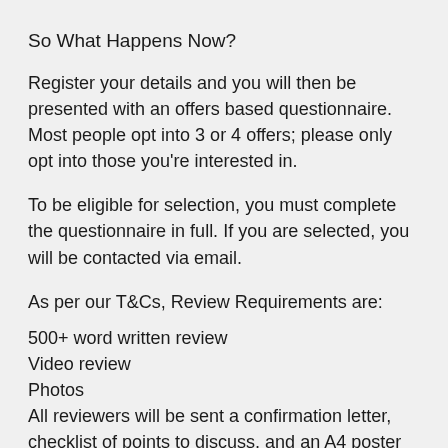So What Happens Now?
Register your details and you will then be presented with an offers based questionnaire. Most people opt into 3 or 4 offers; please only opt into those you're interested in.
To be eligible for selection, you must complete the questionnaire in full. If you are selected, you will be contacted via email.
As per our T&Cs, Review Requirements are:
500+ word written review
Video review
Photos
All reviewers will be sent a confirmation letter, checklist of points to discuss, and an A4 poster for photos.